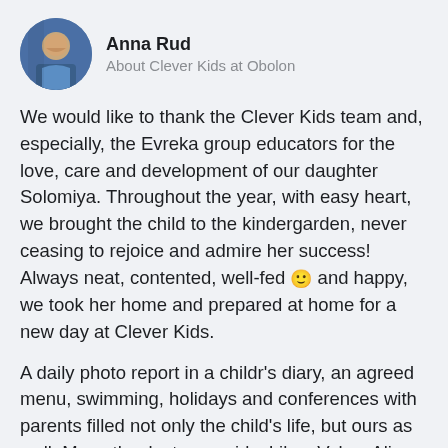[Figure (photo): Circular avatar photo of a woman (Anna Rud) with blue tones]
Anna Rud
About Clever Kids at Obolon
We would like to thank the Clever Kids team and, especially, the Evreka group educators for the love, care and development of our daughter Solomiya. Throughout the year, with easy heart, we brought the child to the kindergarden, never ceasing to rejoice and admire her success! Always neat, contented, well-fed 🙂 and happy, we took her home and prepared at home for a new day at Clever Kids.
A daily photo report in a childr's diary, an agreed menu, swimming, holidays and conferences with parents filled not only the child's life, but ours as well. Many thanks to our girls: Lilya, Valya, Alina,